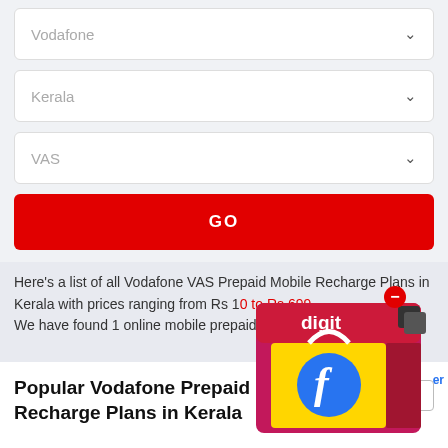Vodafone
Kerala
VAS
GO
Here's a list of all Vodafone VAS Prepaid Mobile Recharge Plans in Kerala with prices ranging from Rs 10 to Rs 699. We have found 1 online mobile prepaid R...er
[Figure (illustration): Advertisement overlay showing a Digit-branded Flipkart box graphic with a minus/close button in top right]
Popular Vodafone Prepaid Recharge Plans in Kerala
Filters